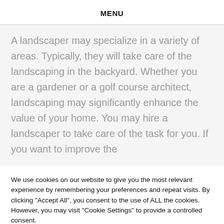MENU
A landscaper may specialize in a variety of areas. Typically, they will take care of the landscaping in the backyard. Whether you are a gardener or a golf course architect, landscaping may significantly enhance the value of your home. You may hire a landscaper to take care of the task for you. If you want to improve the
We use cookies on our website to give you the most relevant experience by remembering your preferences and repeat visits. By clicking "Accept All", you consent to the use of ALL the cookies. However, you may visit "Cookie Settings" to provide a controlled consent.
Cookie Settings   Accept All